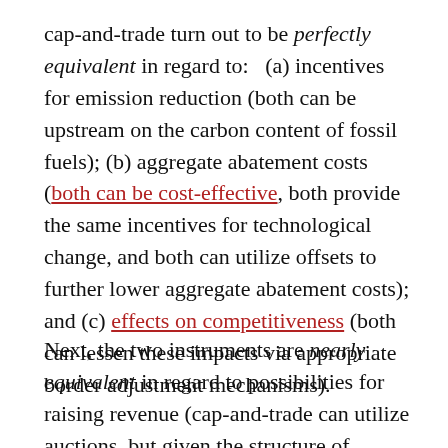cap-and-trade turn out to be perfectly equivalent in regard to: (a) incentives for emission reduction (both can be upstream on the carbon content of fossil fuels); (b) aggregate abatement costs (both can be cost-effective, both provide the same incentives for technological change, and both can utilize offsets to further lower aggregate abatement costs); and (c) effects on competitiveness (both can lessen these impacts via appropriate border adjustment mechanisms).
Next, the two instruments are nearly equivalent in regard to possibilities for raising revenue (cap-and-trade can utilize auctions, but given the structure of Congressional committees,